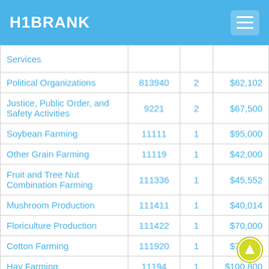H1BRANK
|  |  |  |  |
| --- | --- | --- | --- |
| Services |  |  |  |
| Political Organizations | 813940 | 2 | $62,102 |
| Justice, Public Order, and Safety Activities | 9221 | 2 | $67,500 |
| Soybean Farming | 11111 | 1 | $95,000 |
| Other Grain Farming | 11119 | 1 | $42,000 |
| Fruit and Tree Nut Combination Farming | 111336 | 1 | $45,552 |
| Mushroom Production | 111411 | 1 | $40,014 |
| Floriculture Production | 111422 | 1 | $70,000 |
| Cotton Farming | 111920 | 1 | $75,000 |
| Hay Farming | 11194 | 1 | $100,800 |
|  |  |  |  |